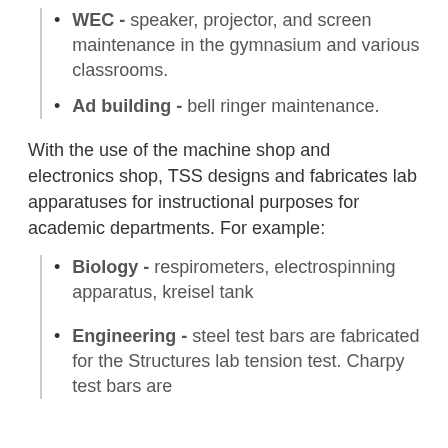WEC - speaker, projector, and screen maintenance in the gymnasium and various classrooms.
Ad building - bell ringer maintenance.
With the use of the machine shop and electronics shop, TSS designs and fabricates lab apparatuses for instructional purposes for academic departments. For example:
Biology - respirometers, electrospinning apparatus, kreisel tank
Engineering - steel test bars are fabricated for the Structures lab tension test. Charpy test bars are